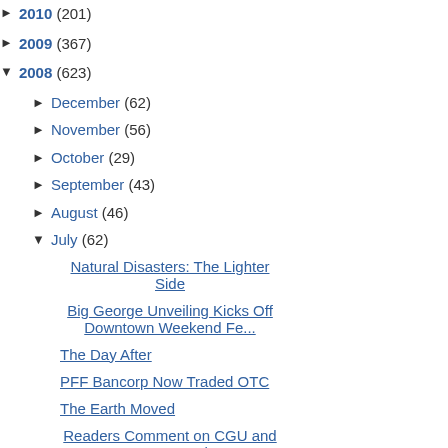► 2010 (201)
► 2009 (367)
▼ 2008 (623)
► December (62)
► November (56)
► October (29)
► September (43)
► August (46)
▼ July (62)
Natural Disasters: The Lighter Side
Big George Unveiling Kicks Off Downtown Weekend Fe...
The Day After
PFF Bancorp Now Traded OTC
The Earth Moved
Readers Comment on CGU and Free Speech
Claremont Museum of Art News
Gold Line's Future Tied to Sales
Toyota acquire the former citizens of Claremont).
So, we rather than using the Claremont already owns, th build the station. The Corey extending over the county k to negotiate the running of
Moreover, the Base Line R with the neighboring city of sharing the cost of building not-so-insignificant hurdle t with.
Why not use the Base Line site is smaller than what Cl course, there's always the c Base Line site," by the Clar League president and Polic Mayor Ellen Taylor (herself
Musselman and Taylor, you behind the failed affordable